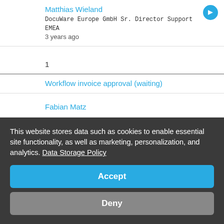Matthias Wieland
DocuWare Europe GmbH Sr. Director Support EMEA
3 years ago
1
Workflow invoice approval (waiting)
Fabian Matz
Matthias Wieland
DocuWare Europe GmbH Sr. Director Support EMEA
3 years ago
1
This website stores data such as cookies to enable essential site functionality, as well as marketing, personalization, and analytics. Data Storage Policy
Accept
Deny